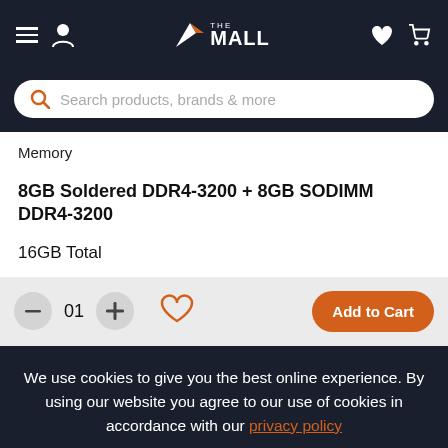A> THE MALL
Search products, brands & more
Memory
8GB Soldered DDR4-3200 + 8GB SODIMM DDR4-3200
16GB Total
- 01 + [heart] Add to Cart
We use cookies to give you the best online experience. By using our website you agree to our use of cookies in accordance with our privacy policy
Continue